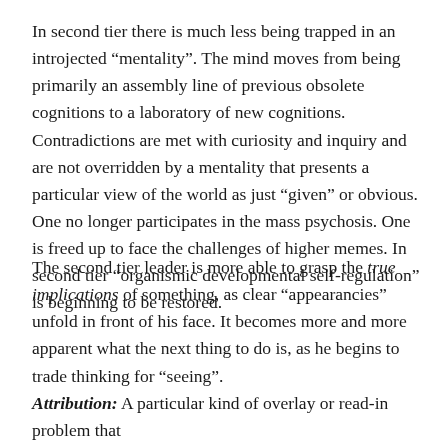In second tier there is much less being trapped in an introjected “mentality”. The mind moves from being primarily an assembly line of previous obsolete cognitions to a laboratory of new cognitions. Contradictions are met with curiosity and inquiry and are not overridden by a mentality that presents a particular view of the world as just “given” or obvious. One no longer participates in the mass psychosis. One is freed up to face the challenges of higher memes. In second tier “organismic developmental self-regulation” is beginning to be restored.
The second tier leader is more able to grasp the true implications of something, as clear “appearancies” unfold in front of his face. It becomes more and more apparent what the next thing to do is, as he begins to trade thinking for “seeing”.
Attribution: A particular kind of overlay or read-in problem that